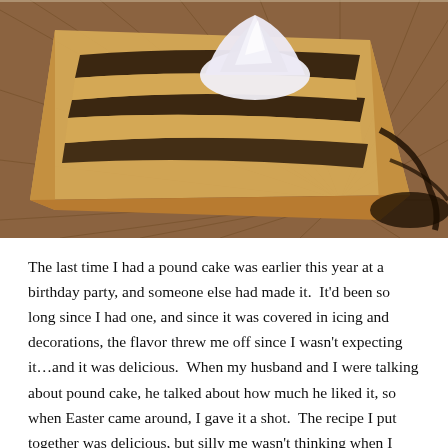[Figure (photo): A slice of marble pound cake with chocolate swirls drizzled with chocolate sauce and topped with a swirl of whipped cream, served on a decorative plate with a starburst pattern.]
The last time I had a pound cake was earlier this year at a birthday party, and someone else had made it.  It'd been so long since I had one, and since it was covered in icing and decorations, the flavor threw me off since I wasn't expecting it…and it was delicious.  When my husband and I were talking about pound cake, he talked about how much he liked it, so when Easter came around, I gave it a shot.  The recipe I put together was delicious, but silly me wasn't thinking when I baked and cooled it